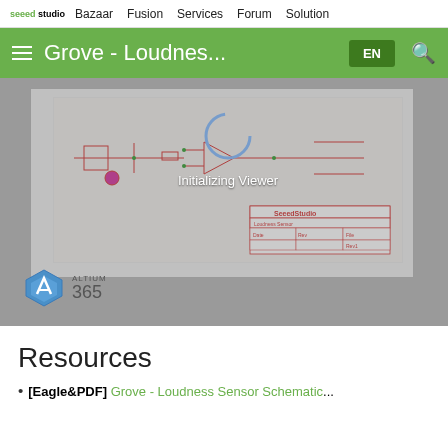seeed studio  Bazaar  Fusion  Services  Forum  Solution
Grove - Loudnes...
[Figure (screenshot): Altium 365 schematic viewer showing a circuit diagram with 'Initializing Viewer' overlay text, SeeedStudio title block, and Altium 365 logo in the bottom left.]
Resources
[Eagle&PDF] Grove - Loudness Sensor Schematic...